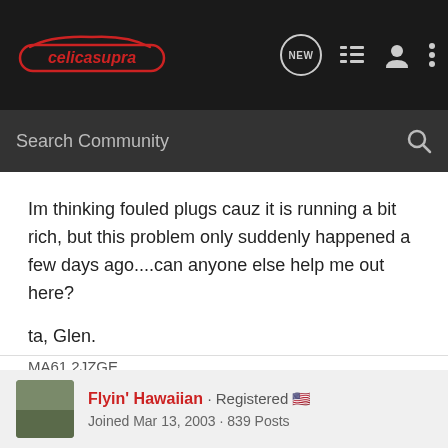celicasupra — Search Community
Im thinking fouled plugs cauz it is running a bit rich, but this problem only suddenly happened a few days ago....can anyone else help me out here?

ta, Glen.
MA61 2JZGE
Flyin' Hawaiian · Registered
Joined Mar 13, 2003 · 839 Posts